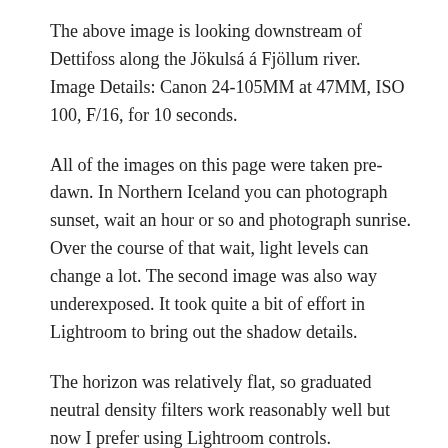The above image is looking downstream of Dettifoss along the Jökulsá á Fjöllum river.
Image Details: Canon 24-105MM at 47MM, ISO 100, F/16, for 10 seconds.
All of the images on this page were taken pre-dawn. In Northern Iceland you can photograph sunset, wait an hour or so and photograph sunrise. Over the course of that wait, light levels can change a lot. The second image was also way underexposed. It took quite a bit of effort in Lightroom to bring out the shadow details.
The horizon was relatively flat, so graduated neutral density filters work reasonably well but now I prefer using Lightroom controls.